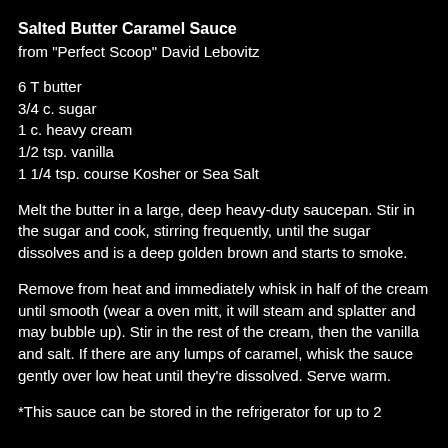Salted Butter Caramel Sauce
from  "Perfect Scoop" David Lebovitz
6 T butter
3/4 c. sugar
1 c. heavy cream
1/2 tsp. vanilla
1 1/4 tsp. course Kosher or Sea Salt
Melt the butter in a large, deep heavy-duty saucepan. Stir in the sugar and cook, stirring frequently, until the sugar dissolves and is a deep golden brown and starts to smoke.
Remove from heat and immediately whisk in half of the cream until smooth (wear a oven mitt, it will steam and splatter and may bubble up). Stir in the rest of the cream, then the vanilla and salt. If there are any lumps of caramel, whisk the sauce gently over low heat until they're dissolved. Serve warm.
*This sauce can be stored in the refrigerator for up to 2